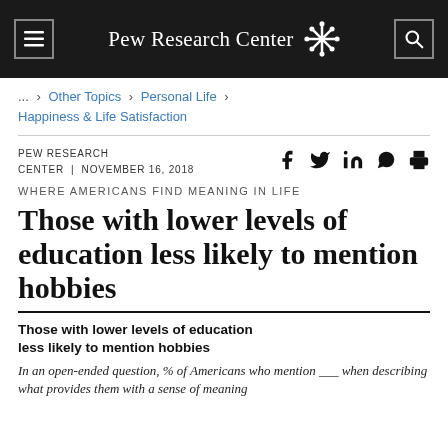Pew Research Center
... > Other Topics > Personal Life > Happiness & Life Satisfaction
PEW RESEARCH CENTER | NOVEMBER 16, 2018
WHERE AMERICANS FIND MEANING IN LIFE
Those with lower levels of education less likely to mention hobbies
Those with lower levels of education less likely to mention hobbies
In an open-ended question, % of Americans who mention ___ when describing what provides them with a sense of meaning